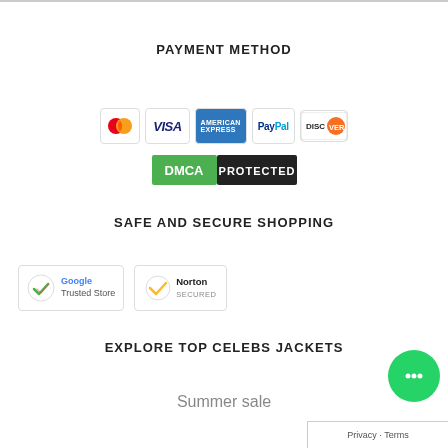PAYMENT METHOD
[Figure (logo): Payment method icons: Mastercard, Visa, American Express, PayPal, Discover]
[Figure (logo): DMCA Protected badge — green DMCA text on left, black PROTECTED text on right]
SAFE AND SECURE SHOPPING
[Figure (logo): Google Trusted Store badge and Norton Secured badge]
EXPLORE TOP CELEBS JACKETS
Summer sale
[Figure (other): Green chat bubble icon bottom right]
Privacy · Terms